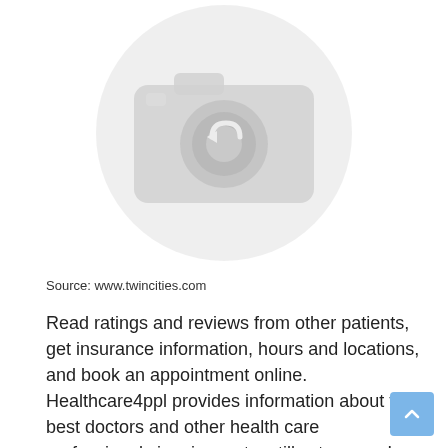[Figure (photo): Placeholder image showing a camera icon with a blurred/greyed-out appearance, indicating a missing or unavailable photo.]
Source: www.twincities.com
Read ratings and reviews from other patients, get insurance information, hours and locations, and book an appointment online. Healthcare4ppl provides information about the best doctors and other health care professionals in minnesota, stillwater, usa. I have taught in